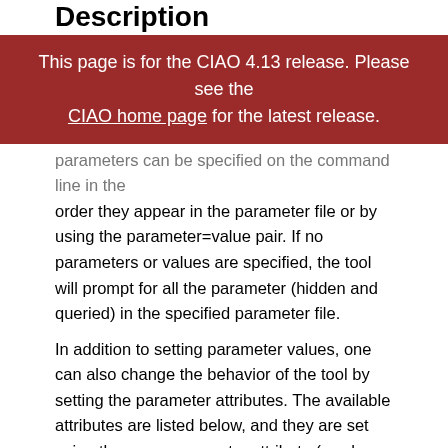Description
This page is for the CIAO 4.13 release. Please see the CIAO home page for the latest release.
parameters can be specified on the command line in the order they appear in the parameter file or by using the parameter=value pair. If no parameters or values are specified, the tool will prompt for all the parameter (hidden and queried) in the specified parameter file.
In addition to setting parameter values, one can also change the behavior of the tool by setting the parameter attributes. The available attributes are listed below, and they are set using the name parameter.attribute (as shown in example 4 below).
Parameter Attributes
| Setting | Description |
| --- | --- |